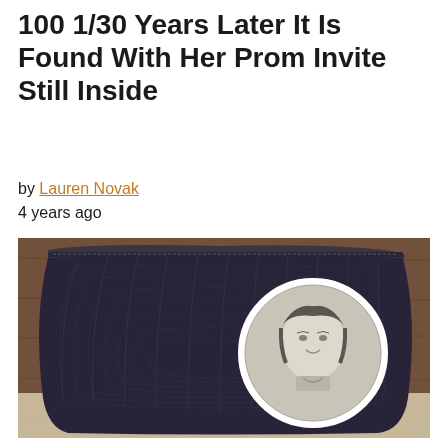100 1/30 Years Later It Is Found With Her Prom Invite Still Inside
by Lauren Novak
4 years ago
[Figure (photo): A dark navy/black ribbed clutch purse on a wooden surface, with a circular inset black-and-white portrait photo of a woman smiling, wearing a collared top.]